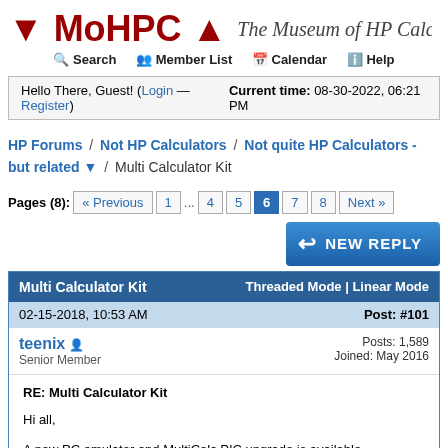↓ MoHPC ↑   The Museum of HP Calcu
Search  Member List  Calendar  Help
Hello There, Guest! (Login — Register)   Current time: 08-30-2022, 06:21 PM
HP Forums / Not HP Calculators / Not quite HP Calculators - but related ▼ / Multi Calculator Kit
Pages (8): « Previous  1  ...  4  5  6  7  8  Next »
NEW REPLY
| Multi Calculator Kit | Threaded Mode | Linear Mode |
| --- | --- |
| 02-15-2018, 10:53 AM | Post: #101 |
| teenix  Senior Member | Posts: 1,589
Joined: May 2016 |
| RE: Multi Calculator Kit

Hi all,

A new PC emulator and MultiCalc PIC upgrade is available. |  |